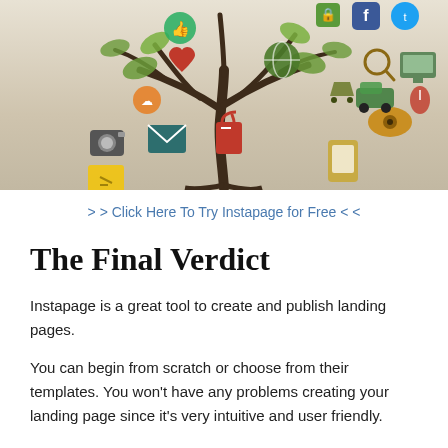[Figure (illustration): A decorative tree illustration with social media and digital icons as leaves/ornaments hanging from its branches, on a beige/tan gradient background.]
> > Click Here To Try Instapage for Free < <
The Final Verdict
Instapage is a great tool to create and publish landing pages.
You can begin from scratch or choose from their templates. You won’t have any problems creating your landing page since it’s very intuitive and user friendly.